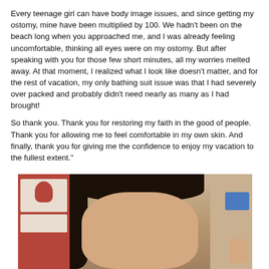Every teenage girl can have body image issues, and since getting my ostomy, mine have been multiplied by 100. We hadn't been on the beach long when you approached me, and I was already feeling uncomfortable, thinking all eyes were on my ostomy. But after speaking with you for those few short minutes, all my worries melted away. At that moment, I realized what I look like doesn't matter, and for the rest of vacation, my only bathing suit issue was that I had severely over packed and probably didn't need nearly as many as I had brought!

So thank you. Thank you for restoring my faith in the good of people. Thank you for allowing me to feel comfortable in my own skin. And finally, thank you for giving me the confidence to enjoy my vacation to the fullest extent."
[Figure (photo): A young woman with long dark hair holding a blue card, photographed indoors with shelves visible in the background on the left side.]